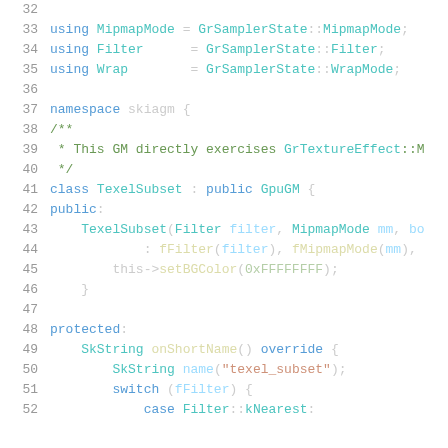Source code listing, lines 32-52, C++ code for TexelSubset GM class using GrSamplerState types and GrTextureEffect